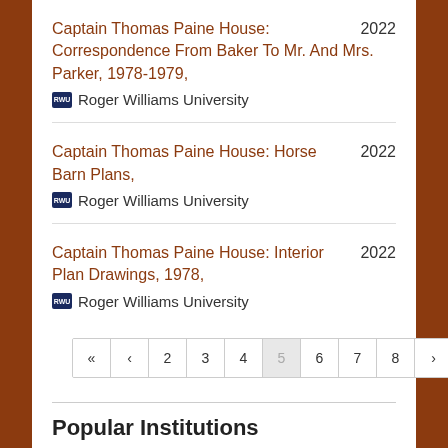Captain Thomas Paine House: Correspondence From Baker To Mr. And Mrs. Parker, 1978-1979, 2022 Roger Williams University
Captain Thomas Paine House: Horse Barn Plans, 2022 Roger Williams University
Captain Thomas Paine House: Interior Plan Drawings, 1978, 2022 Roger Williams University
Pagination: << < 2 3 4 5 6 7 8 > >>
Popular Institutions